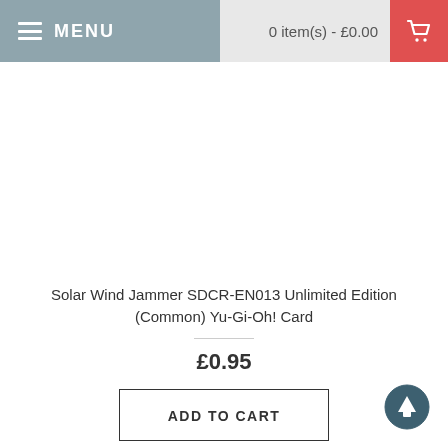MENU   0 item(s) - £0.00
[Figure (other): Product image area (blank/white) for Solar Wind Jammer Yu-Gi-Oh card]
Solar Wind Jammer SDCR-EN013 Unlimited Edition (Common) Yu-Gi-Oh! Card
£0.95
ADD TO CART